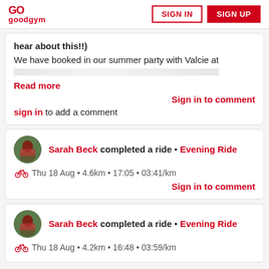goodgym | SIGN IN | SIGN UP
hear about this!!)
We have booked in our summer party with Valcie at
Read more
Sign in to comment
sign in to add a comment
Sarah Beck completed a ride • Evening Ride
Thu 18 Aug • 4.6km • 17:05 • 03:41/km
Sign in to comment
Sarah Beck completed a ride • Evening Ride
Thu 18 Aug • 4.2km • 16:48 • 03:59/km